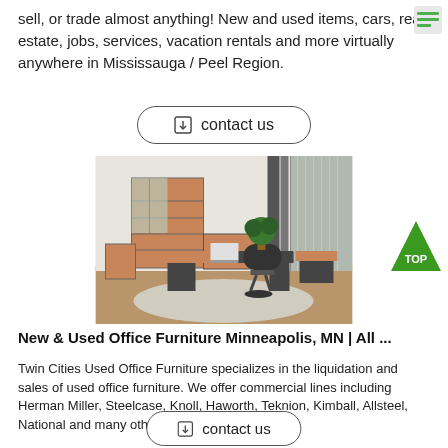sell, or trade almost anything! New and used items, cars, real estate, jobs, services, vacation rentals and more virtually anywhere in Mississauga / Peel Region.
contact us
[Figure (photo): Photo of an office furniture showroom or display featuring a wooden desk with black accents, office chair, bookshelves, filing cabinets, and plants in a modern office setting.]
New & Used Office Furniture Minneapolis, MN | All ...
Twin Cities Used Office Furniture specializes in the liquidation and sales of used office furniture. We offer commercial lines including Herman Miller, Steelcase, Knoll, Haworth, Teknion, Kimball, Allsteel, National and many others. Visit our .
contact us